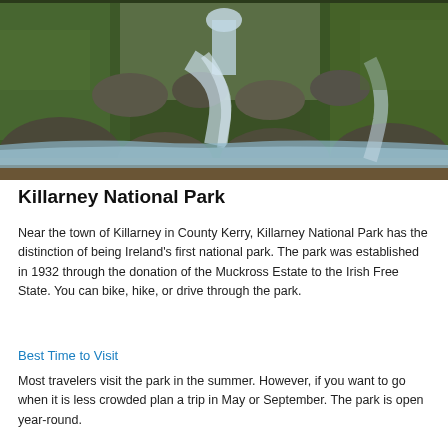[Figure (photo): Waterfall cascading over mossy rocks and boulders in a lush green forest, likely Torc Waterfall in Killarney National Park, Ireland.]
Killarney National Park
Near the town of Killarney in County Kerry, Killarney National Park has the distinction of being Ireland's first national park. The park was established in 1932 through the donation of the Muckross Estate to the Irish Free State. You can bike, hike, or drive through the park.
Best Time to Visit
Most travelers visit the park in the summer. However, if you want to go when it is less crowded plan a trip in May or September. The park is open year-round.